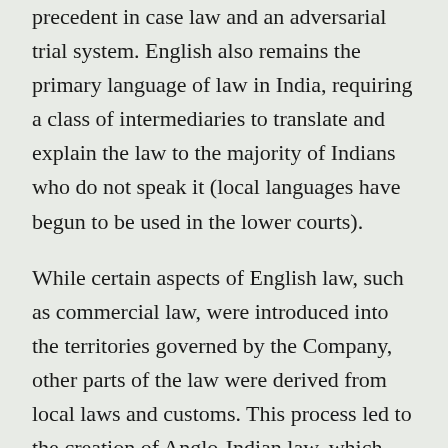precedent in case law and an adversarial trial system. English also remains the primary language of law in India, requiring a class of intermediaries to translate and explain the law to the majority of Indians who do not speak it (local languages have begun to be used in the lower courts).
While certain aspects of English law, such as commercial law, were introduced into the territories governed by the Company, other parts of the law were derived from local laws and customs. This process led to the creation of Anglo-Indian law, which includes both Anglo-Hindu law and Anglo-Muhammad law. The evolution of Anglo-Indian law began in the 1770s when administrators led by Warren Hastings reached for canonical sources in the Hindu and Muslim traditions, such